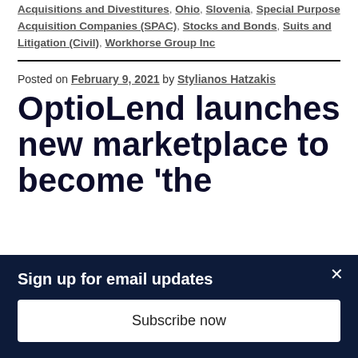Acquisitions and Divestitures, Ohio, Slovenia, Special Purpose Acquisition Companies (SPAC), Stocks and Bonds, Suits and Litigation (Civil), Workhorse Group Inc
Posted on February 9, 2021 by Stylianos Hatzakis
OptioLend launches new marketplace to become 'the
Sign up for email updates
Subscribe now